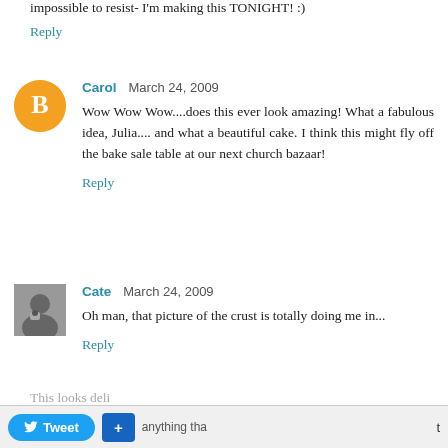impossible to resist- I'm making this TONIGHT! :)
Reply
Carol  March 24, 2009
Wow Wow Wow....does this ever look amazing! What a fabulous idea, Julia.... and what a beautiful cake. I think this might fly off the bake sale table at our next church bazaar!
Reply
Cate  March 24, 2009
Oh man, that picture of the crust is totally doing me in...
Reply
Anonymous  March 25, 2009
This looks deli...anything tha...